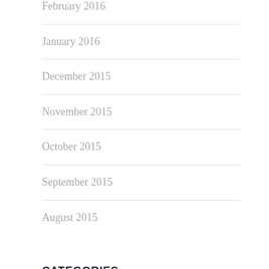February 2016
January 2016
December 2015
November 2015
October 2015
September 2015
August 2015
CATEGORIES
alkaline